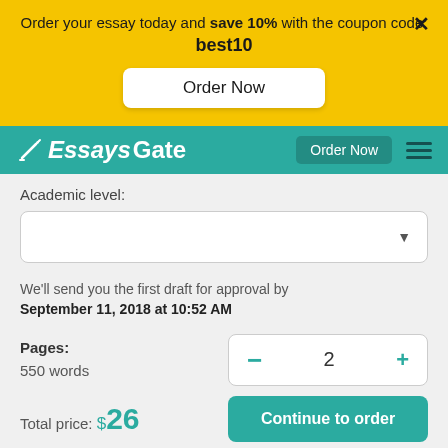Order your essay today and save 10% with the coupon code: best10
Order Now
Essays Gate — Order Now
Academic level:
We'll send you the first draft for approval by September 11, 2018 at 10:52 AM
Pages: 550 words
2
Total price: $26
Continue to order